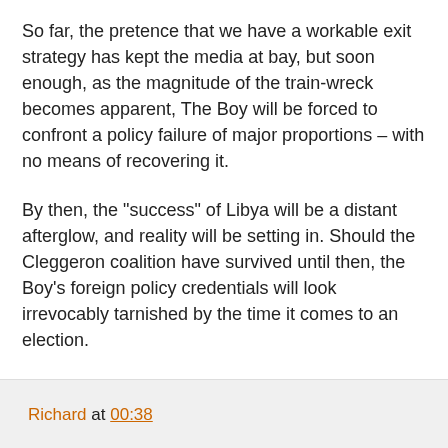So far, the pretence that we have a workable exit strategy has kept the media at bay, but soon enough, as the magnitude of the train-wreck becomes apparent, The Boy will be forced to confront a policy failure of major proportions – with no means of recovering it.
By then, the "success" of Libya will be a distant afterglow, and reality will be setting in. Should the Cleggeron coalition have survived until then, the Boy's foreign policy credentials will look irrevocably tarnished by the time it comes to an election.
In short, there is going to be no "Falklands effect" for The Boy. The current level of approval is as good as it gets. As the effects of the policy failures multiply, it is downhill all the way.
COMMENT THREAD
Richard at 00:38